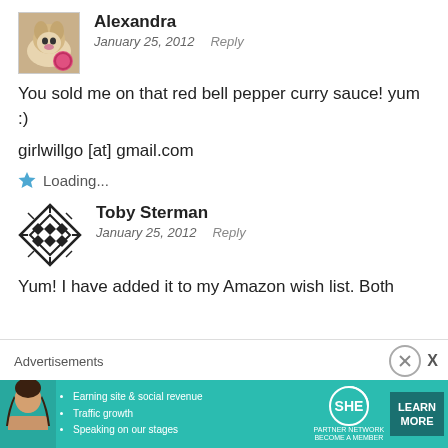Alexandra
January 25, 2012   Reply
You sold me on that red bell pepper curry sauce! yum :)
girlwillgo [at] gmail.com
Loading...
Toby Sterman
January 25, 2012   Reply
Yum! I have added it to my Amazon wish list. Both
Advertisements